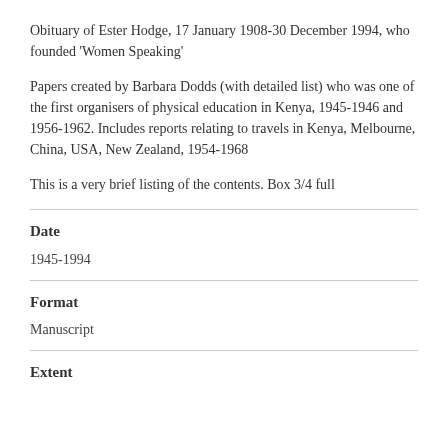Obituary of Ester Hodge, 17 January 1908-30 December 1994, who founded 'Women Speaking'
Papers created by Barbara Dodds (with detailed list) who was one of the first organisers of physical education in Kenya, 1945-1946 and 1956-1962. Includes reports relating to travels in Kenya, Melbourne, China, USA, New Zealand, 1954-1968
This is a very brief listing of the contents. Box 3/4 full
Date
1945-1994
Format
Manuscript
Extent